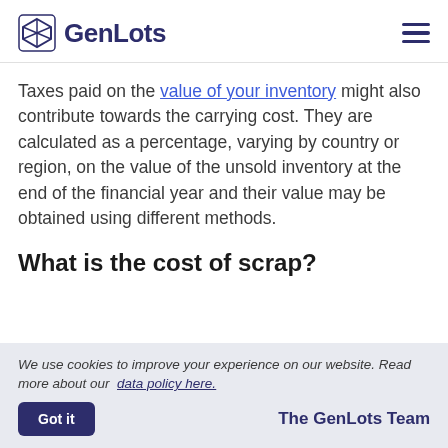GenLots
Taxes paid on the value of your inventory might also contribute towards the carrying cost. They are calculated as a percentage, varying by country or region, on the value of the unsold inventory at the end of the financial year and their value may be obtained using different methods.
What is the cost of scrap?
We use cookies to improve your experience on our website. Read more about our data policy here.
Got it    The GenLots Team